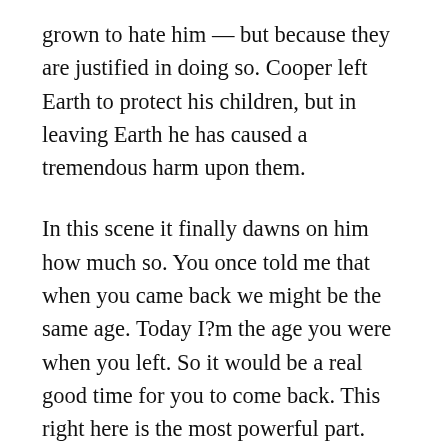grown to hate him — but because they are justified in doing so. Cooper left Earth to protect his children, but in leaving Earth he has caused a tremendous harm upon them.
In this scene it finally dawns on him how much so. You once told me that when you came back we might be the same age. Today I?m the age you were when you left. So it would be a real good time for you to come back. This right here is the most powerful part. When his daughter, whose face is that of a stranger, reminds him that he just broke the only promise he ever made to his scared and vulnerable daughter. Not only there, but there is also a strong sense of injustice; how the character has been denied